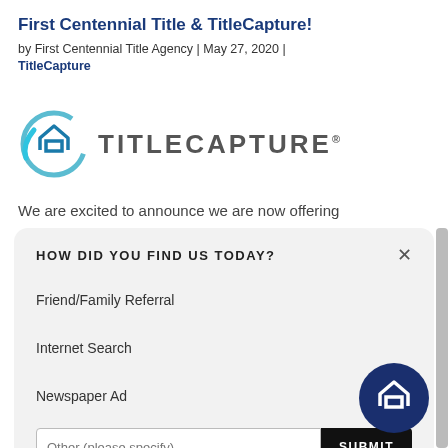First Centennial Title & TitleCapture!
by First Centennial Title Agency | May 27, 2020 | TitleCapture
[Figure (logo): TitleCapture logo: circular icon with house outline in light blue and teal, next to bold uppercase text TITLECAPTURE with registered trademark symbol]
We are excited to announce we are now offering
[Figure (screenshot): Modal dialog titled HOW DID YOU FIND US TODAY? with options: Friend/Family Referral, Internet Search, Newspaper Ad, and an Other (please specify) text input with a SUBMIT button. An X close button is in the top right corner.]